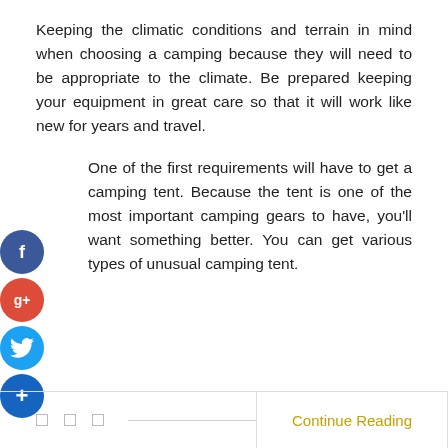Keeping the climatic conditions and terrain in mind when choosing a camping because they will need to be appropriate to the climate. Be prepared keeping your equipment in great care so that it will work like new for years and travel.
[Figure (infographic): Social media sharing buttons: Facebook (blue circle with f), Google+ (red circle with g+), Twitter (blue circle with bird icon), Add/Plus (dark blue circle with + sign)]
One of the first requirements will have to get a camping tent. Because the tent is one of the most important camping gears to have, you'll want something better. You can get various types of unusual camping tent.
Continue Reading